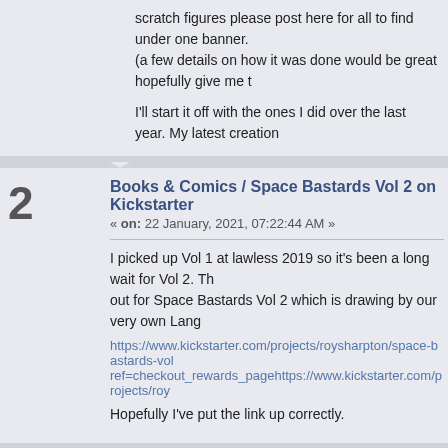scratch figures please post here for all to find under one banner. (a few details on how it was done would be great hopefully give me t
I'll start it off with the ones I did over the last year. My latest creation
Books & Comics / Space Bastards Vol 2 on Kickstarter
« on: 22 January, 2021, 07:22:44 AM »
I picked up Vol 1 at lawless 2019 so it's been a long wait for Vol 2. Th out for Space Bastards Vol 2 which is drawing by our very own Lang
https://www.kickstarter.com/projects/roysharpton/space-bastards-vol ref=checkout_rewards_pagehttps://www.kickstarter.com/projects/roy
Hopefully I've put the link up correctly.
Film & TV / Alien TV series
« on: 07 December, 2020, 10:54:16 PM »
Was passed this by my Alien super fan mate from work.
https://comicbook.com/comics/news/alien-new-marvel-series-comics
If it gets off the ground I'll definitely give it a watch as long as it's bas